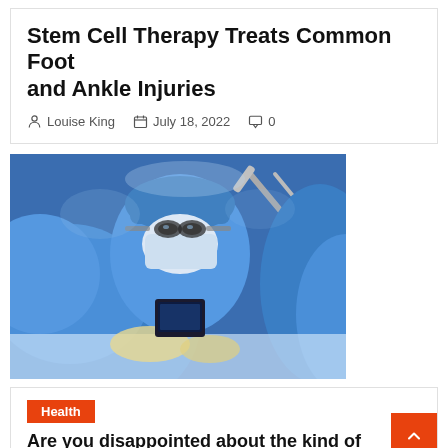Stem Cell Therapy Treats Common Foot and Ankle Injuries
Louise King  July 18, 2022  0
[Figure (photo): Medical professionals in blue surgical gowns and masks performing a surgical procedure, with surgical instruments visible]
Health
Are you disappointed about the kind of